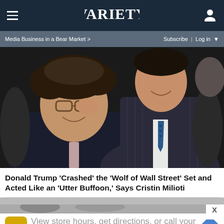Variety
Media Business in a Bear Market > | Subscribe | Log in
[Figure (photo): Two men in suits facing each other closely, one with glasses and curly hair, the other in a pinstripe suit with a blue tie, embracing/confronting in a scene from Wolf of Wall Street]
Donald Trump ‘Crashed’ the ‘Wolf of Wall Street’ Set and Acted Like an ‘Utter Buffoon,’ Says Cristin Milioti
[Figure (photo): Partially visible photo strip below the article title, showing a person's head]
View store hours, get directions, or call your salon!